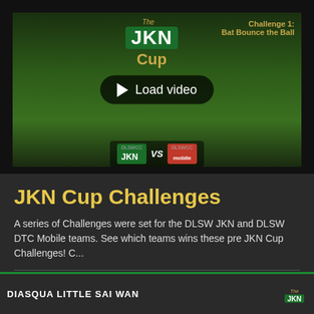[Figure (screenshot): Video thumbnail showing two cricket players in orange and green jerseys holding a trophy, with 'The JKN Cup' logo overlay, 'Challenge 1: Bat Bounce the Ball' text, a 'Load video' play button, and DLSWCC JKN vs DLSWCC Mobile badges at the bottom.]
JKN Cup Challenges
A series of Challenges were set for the DLSW JKN and DLSW DTC Mobile teams. See which teams wins these pre JKN Cup Challenges! C...
DIASQUA LITTLE SAI WAN